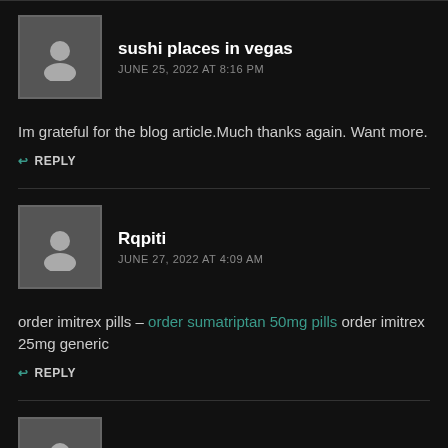sushi places in vegas
JUNE 25, 2022 AT 8:16 PM
Im grateful for the blog article.Much thanks again. Want more.
REPLY
Rqpiti
JUNE 27, 2022 AT 4:09 AM
order imitrex pills – order sumatriptan 50mg pills order imitrex 25mg generic
REPLY
usfl highlights